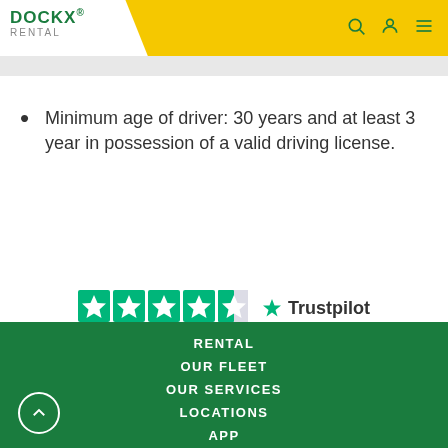[Figure (logo): DOCKX RENTAL logo in green with yellow background header, search, user, and menu icons]
Minimum age of driver: 30 years and at least 3 year in possession of a valid driving license.
[Figure (logo): Trustpilot rating showing 4.5 stars (green star icons) with Trustpilot logo]
RENTAL
OUR FLEET
OUR SERVICES
LOCATIONS
APP
MOVING SOLUTIONS